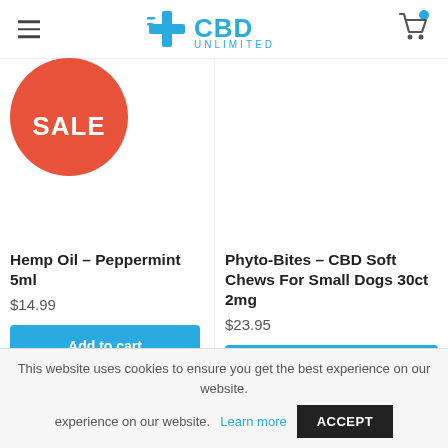CBD Unlimited
[Figure (logo): CBD Unlimited logo with cross/plus icon in teal and CBD UNLIMITED text in teal]
[Figure (other): Red/coral circular SALE badge, partially visible at top left]
Hemp Oil – Peppermint 5ml
$14.99
Add to cart
Phyto-Bites – CBD Soft Chews For Small Dogs 30ct 2mg
$23.95
Select options
This website uses cookies to ensure you get the best experience on our website. Learn more ACCEPT